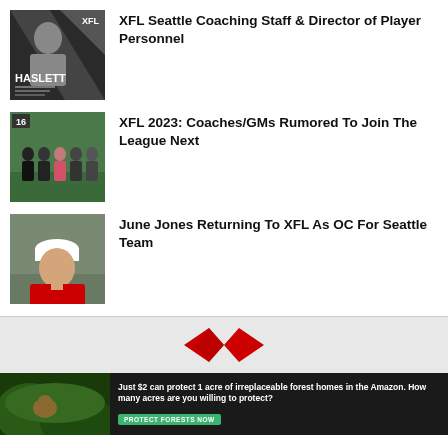[Figure (photo): XFL Seattle coaching staff promo image with HASLETT name text, dark background with diagonal design]
XFL Seattle Coaching Staff & Director of Player Personnel
[Figure (photo): Group photo of XFL coaches/GMs standing on a football field]
XFL 2023: Coaches/GMs Rumored To Join The League Next
[Figure (photo): Photo of June Jones wearing a white cap and red shirt]
June Jones Returning To XFL As OC For Seattle Team
[Figure (other): XFL logo in red/dark on gray background]
[Figure (photo): Ad banner: forest/Amazon wildlife image with text 'Just $2 can protect 1 acre of irreplaceable forest homes in the Amazon. How many acres are you willing to protect?' and green PROTECT FORESTS NOW button]